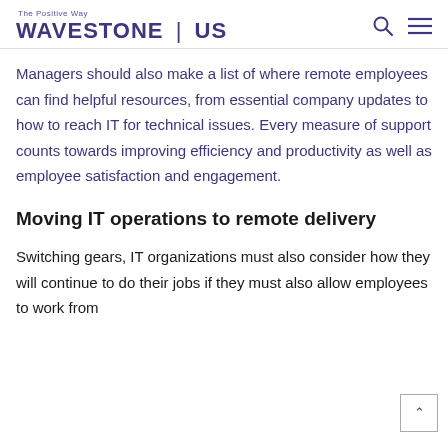The Positive Way WAVESTONE | US
Managers should also make a list of where remote employees can find helpful resources, from essential company updates to how to reach IT for technical issues. Every measure of support counts towards improving efficiency and productivity as well as employee satisfaction and engagement.
Moving IT operations to remote delivery
Switching gears, IT organizations must also consider how they will continue to do their jobs if they must also allow employees to work from